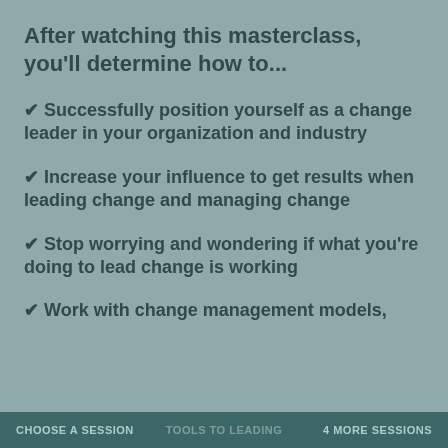After watching this masterclass, you'll determine how to...
✔ Successfully position yourself as a change leader in your organization and industry
✔ Increase your influence to get results when leading change and managing change
✔ Stop worrying and wondering if what you're doing to lead change is working
✔ Work with change management models,
CHOOSE A SESSION    4 MORE SESSIONS